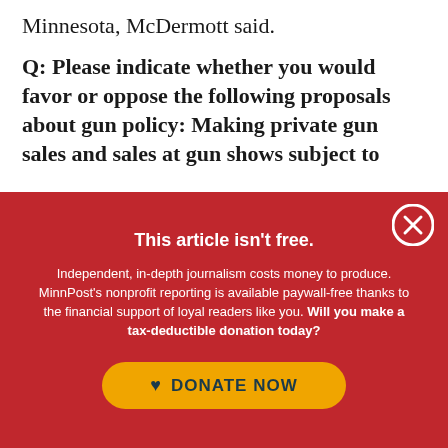Minnesota, McDermott said.
Q: Please indicate whether you would favor or oppose the following proposals about gun policy: Making private gun sales and sales at gun shows subject to
This article isn't free.
Independent, in-depth journalism costs money to produce. MinnPost's nonprofit reporting is available paywall-free thanks to the financial support of loyal readers like you. Will you make a tax-deductible donation today?
DONATE NOW